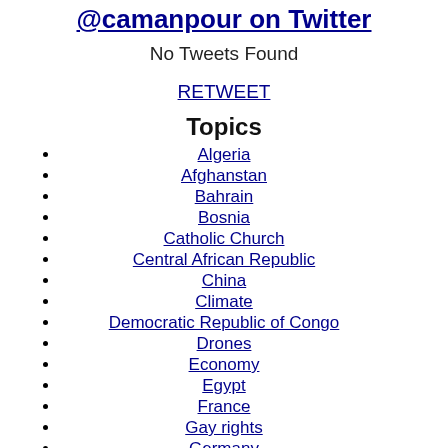@camanpour on Twitter
No Tweets Found
RETWEET
Topics
Algeria
Afghanstan
Bahrain
Bosnia
Catholic Church
Central African Republic
China
Climate
Democratic Republic of Congo
Drones
Economy
Egypt
France
Gay rights
Germany
Greece